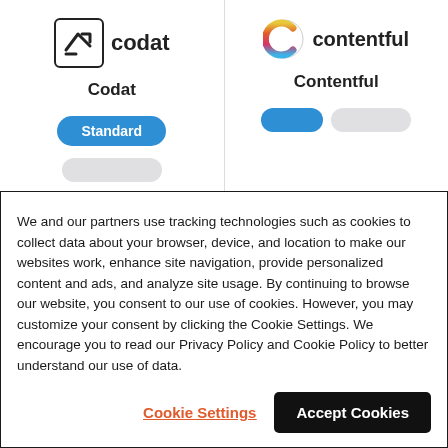[Figure (screenshot): Website cards showing Codat and Contentful integration options with Standard badges and action buttons]
We and our partners use tracking technologies such as cookies to collect data about your browser, device, and location to make our websites work, enhance site navigation, provide personalized content and ads, and analyze site usage. By continuing to browse our website, you consent to our use of cookies. However, you may customize your consent by clicking the Cookie Settings. We encourage you to read our Privacy Policy and Cookie Policy to better understand our use of data.
Cookie Settings
Accept Cookies